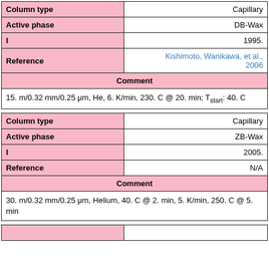| Column type |  |
| --- | --- |
| Column type | Capillary |
| Active phase | DB-Wax |
| I | 1995. |
| Reference | Kishimoto, Wanikawa, et al., 2006 |
| Comment |  |
| 15. m/0.32 mm/0.25 μm, He, 6. K/min, 230. C @ 20. min; Tstart: 40. C |  |
| Column type |  |
| --- | --- |
| Column type | Capillary |
| Active phase | ZB-Wax |
| I | 2005. |
| Reference | N/A |
| Comment |  |
| 30. m/0.32 mm/0.25 μm, Helium, 40. C @ 2. min, 5. K/min, 250. C @ 5. min |  |